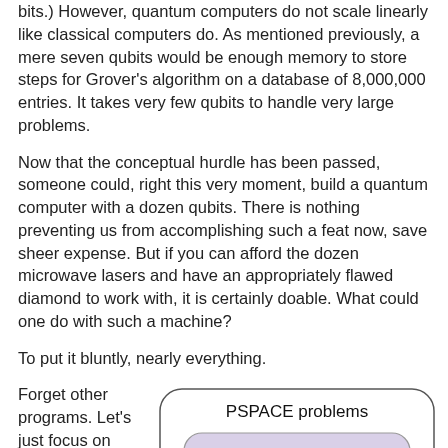bits.) However, quantum computers do not scale linearly like classical computers do. As mentioned previously, a mere seven qubits would be enough memory to store steps for Grover's algorithm on a database of 8,000,000 entries. It takes very few qubits to handle very large problems.
Now that the conceptual hurdle has been passed, someone could, right this very moment, build a quantum computer with a dozen qubits. There is nothing preventing us from accomplishing such a feat now, save sheer expense. But if you can afford the dozen microwave lasers and have an appropriately flawed diamond to work with, it is certainly doable. What could one do with such a machine?
To put it bluntly, nearly everything.
Forget other programs. Let's just focus on Grover's algorithm,
[Figure (infographic): Nested diagram showing complexity classes: outer rounded rectangle labeled 'PSPACE problems' (white background), inner rounded rectangle labeled 'NP Problems' (light purple/lavender background), innermost oval labeled 'NP Complete' (pink/salmon background).]